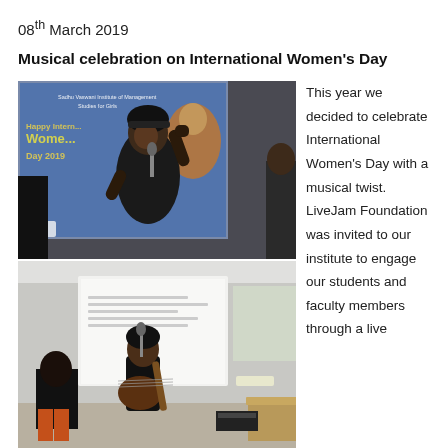08th March 2019
Musical celebration on International Women's Day
[Figure (photo): Two photographs: top photo shows a woman performing on stage singing into a microphone with fist raised, in front of a projected screen showing 'Happy International Women's Day 2019' at Sadhu Vaswani Institute of Management Studies for Girls. Bottom photo shows a person playing acoustic guitar on a small stage in front of a projected screen in a classroom setting with another person seated to the left.]
This year we decided to celebrate International Women's Day with a musical twist. LiveJam Foundation was invited to our institute to engage our students and faculty members through a live